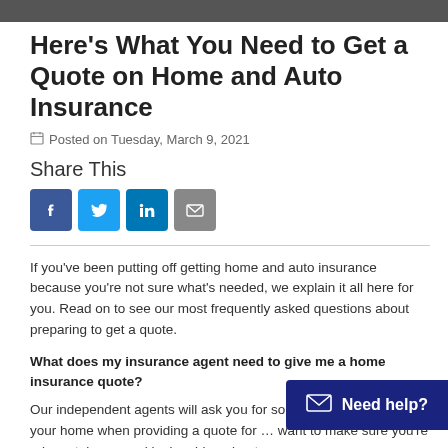[Figure (photo): Dark image strip at the top of the page (partial photo)]
Here's What You Need to Get a Quote on Home and Auto Insurance
Posted on Tuesday, March 9, 2021
Share This
[Figure (infographic): Social sharing icons: Facebook (blue), Twitter (light blue), LinkedIn (dark blue), Email (grey)]
If you've been putting off getting home and auto insurance because you're not sure what's needed, we explain it all here for you. Read on to see our most frequently asked questions about preparing to get a quote.
What does my insurance agent need to give me a home insurance quote?
Our independent agents will ask you for some basic info about your home when providing a quote for … want to make sure you're adequately covered by inquiring about: